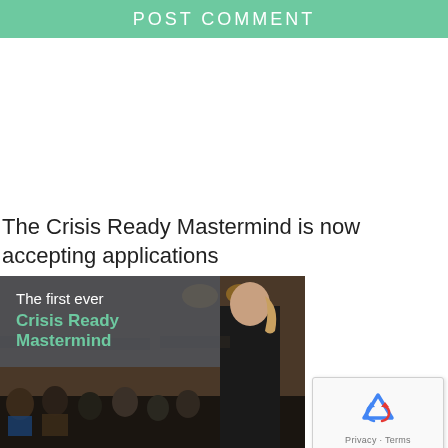POST COMMENT
The Crisis Ready Mastermind is now accepting applications
[Figure (photo): Conference photo with overlay text reading 'The first ever Crisis Ready Mastermind' on a dark translucent background, with a woman presenter visible on the right and a conference audience below.]
[Figure (other): reCAPTCHA widget showing the reCAPTCHA logo with refresh arrows and links to Privacy and Terms.]